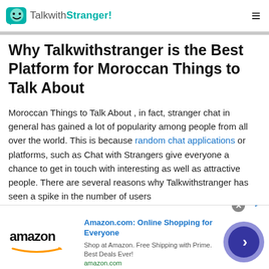TalkwithStranger!
Why Talkwithstranger is the Best Platform for Moroccan Things to Talk About
Moroccan Things to Talk About , in fact, stranger chat in general has gained a lot of popularity among people from all over the world. This is because random chat applications or platforms, such as Chat with Strangers give everyone a chance to get in touch with interesting as well as attractive people. There are several reasons why Talkwithstranger has seen a spike in the number of users
[Figure (other): Amazon advertisement banner showing Amazon logo, title 'Amazon.com: Online Shopping for Everyone', subtitle 'Shop at Amazon. Free Shipping with Prime. Best Deals Ever!', amazon.com URL, and a circular blue arrow button]